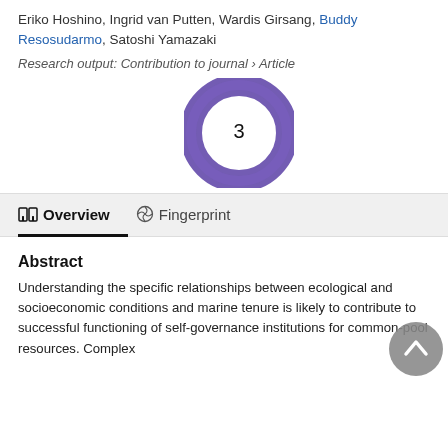Eriko Hoshino, Ingrid van Putten, Wardis Girsang, Buddy Resosudarmo, Satoshi Yamazaki
Research output: Contribution to journal › Article
[Figure (donut-chart): Purple donut/ring chart with number 3 in the center, representing a citation count of 3]
Overview   Fingerprint
Abstract
Understanding the specific relationships between ecological and socioeconomic conditions and marine tenure is likely to contribute to successful functioning of self-governance institutions for common-pool resources. Complex